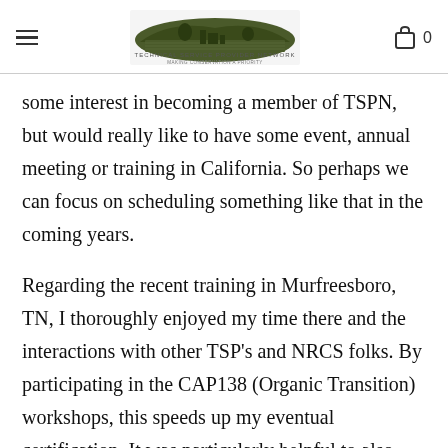Technical Service Provider Network — Making Conservation a Priority
some interest in becoming a member of TSPN, but would really like to have some event, annual meeting or training in California. So perhaps we can focus on scheduling something like that in the coming years.
Regarding the recent training in Murfreesboro, TN, I thoroughly enjoyed my time there and the interactions with other TSP's and NRCS folks. By participating in the CAP138 (Organic Transition) workshops, this speeds up my eventual certification. It was particularly helpful to also have Steve Hill in attendance (he is the California NRCS TSP